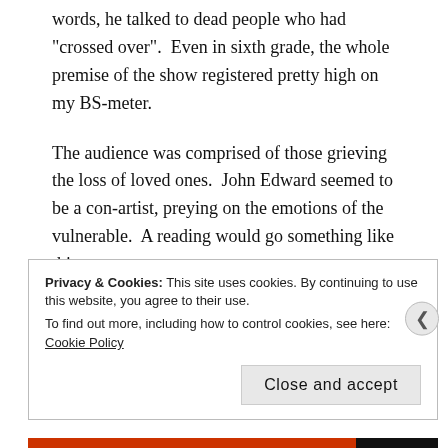words, he talked to dead people who had "crossed over".  Even in sixth grade, the whole premise of the show registered pretty high on my BS-meter.
The audience was comprised of those grieving the loss of loved ones.  John Edward seemed to be a con-artist, preying on the emotions of the vulnerable.  A reading would go something like this...
“Did anyone here lose a mother figure?”, he’d ask.
No response.
Privacy & Cookies: This site uses cookies. By continuing to use this website, you agree to their use.
To find out more, including how to control cookies, see here: Cookie Policy

Close and accept